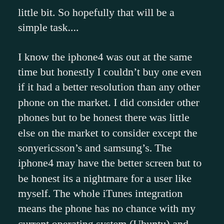little bit. So hopefully that will be a simple task....
I know the iphone4 was out at the same time but honestly I couldn't buy one even if it had a better resolution than any other phone on the market. I did consider other phones but to be honest there was little else on the market to consider except the sonyericsson's and samsung's. The iphone4 may have the better screen but to be honest its a nightmare for a user like myself. The whole iTunes integration means the phone has no chance with my current operating system (Ubuntu) and why would I lower myself to that type of integration when theres a better way? I really did put my